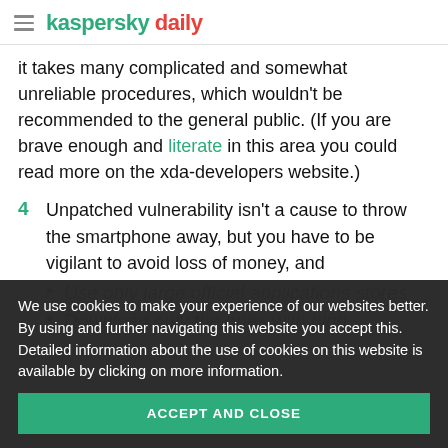kaspersky daily
it takes many complicated and somewhat unreliable procedures, which wouldn't be recommended to the general public. (If you are brave enough and literate in this area you could read more on the xda-developers website.)
4  Unpatched vulnerability isn't a cause to throw the smartphone away, but you have to be vigilant to avoid loss of money, and
• Use only large official applications stores
• Download only the ones with high
We use cookies to make your experience of our websites better. By using and further navigating this website you accept this. Detailed information about the use of cookies on this website is available by clicking on more information.
ACCEPT AND CLOSE